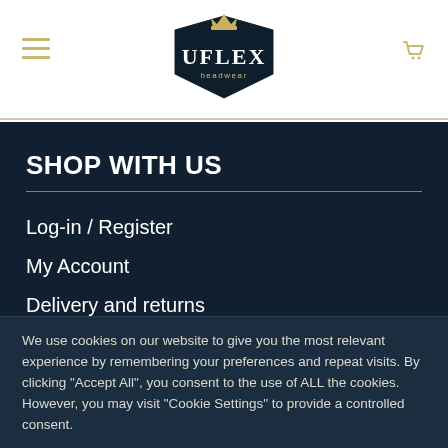[Figure (logo): UFlex Headwear logo — dark navy pentagon/shield shape with crown on top, brand name UFLEX in large white serif letters, 'headwear' in smaller text below]
SHOP WITH US
Log-in / Register
My Account
Delivery and returns
We use cookies on our website to give you the most relevant experience by remembering your preferences and repeat visits. By clicking "Accept All", you consent to the use of ALL the cookies. However, you may visit "Cookie Settings" to provide a controlled consent.